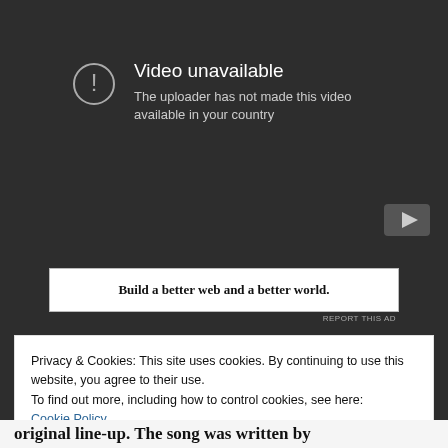[Figure (screenshot): YouTube video unavailable error panel on dark background. Shows a circle with exclamation mark icon, text 'Video unavailable' and 'The uploader has not made this video available in your country'. YouTube logo button in bottom right corner.]
Build a better web and a better world.
REPORT THIS AD
Privacy & Cookies: This site uses cookies. By continuing to use this website, you agree to their use.
To find out more, including how to control cookies, see here:
Cookie Policy
Close and accept
original line-up. The song was written by